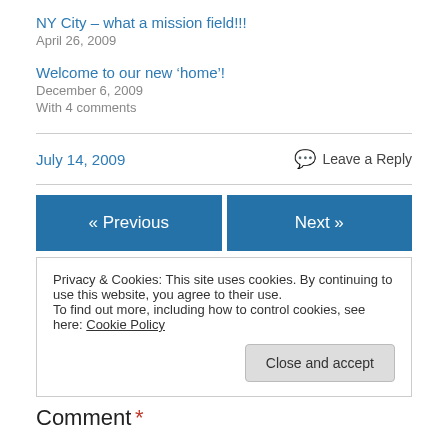NY City – what a mission field!!!
April 26, 2009
Welcome to our new ‘home’!
December 6, 2009
With 4 comments
July 14, 2009
Leave a Reply
« Previous
Next »
Privacy & Cookies: This site uses cookies. By continuing to use this website, you agree to their use.
To find out more, including how to control cookies, see here: Cookie Policy
Close and accept
Comment *